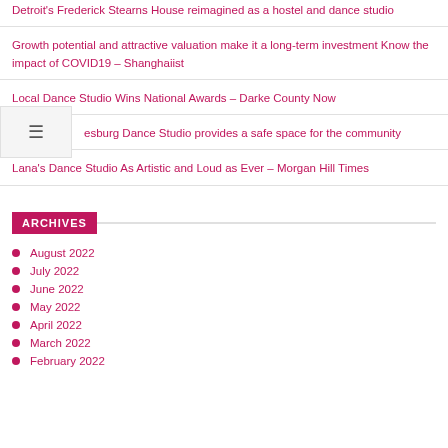Detroit's Frederick Stearns House reimagined as a hostel and dance studio
Growth potential and attractive valuation make it a long-term investment Know the impact of COVID19 – Shanghaiist
Local Dance Studio Wins National Awards – Darke County Now
esburg Dance Studio provides a safe space for the community
Lana's Dance Studio As Artistic and Loud as Ever – Morgan Hill Times
ARCHIVES
August 2022
July 2022
June 2022
May 2022
April 2022
March 2022
February 2022